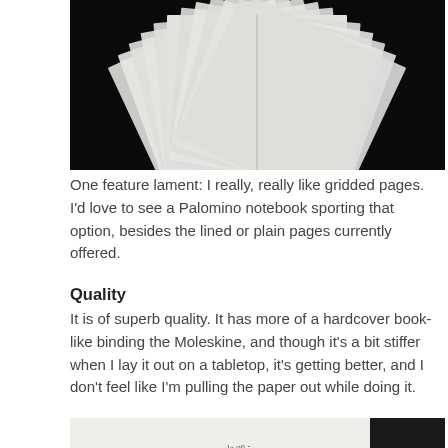[Figure (photo): Close-up photograph of a notebook with pages fanned open against a black background, showing the white pages spread outward]
One feature lament: I really, really like gridded pages. I'd love to see a Palomino notebook sporting that option, besides the lined or plain pages currently offered.
Quality
It is of superb quality. It has more of a hardcover book-like binding the Moleskine, and though it's a bit stiffer when I lay it out on a tabletop, it's getting better, and I don't feel like I'm pulling the paper out while doing it.
[Figure (photo): Close-up photograph of a notebook page with handwritten notes and a red pencil lying across it]